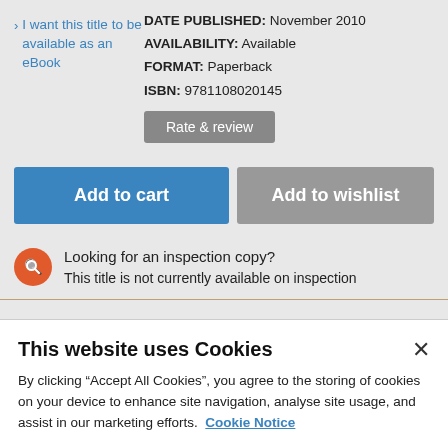I want this title to be available as an eBook
DATE PUBLISHED: November 2010
AVAILABILITY: Available
FORMAT: Paperback
ISBN: 9781108020145
Rate & review
Add to cart
Add to wishlist
Looking for an inspection copy?
This title is not currently available on inspection
This website uses Cookies
By clicking “Accept All Cookies”, you agree to the storing of cookies on your device to enhance site navigation, analyse site usage, and assist in our marketing efforts.  Cookie Notice